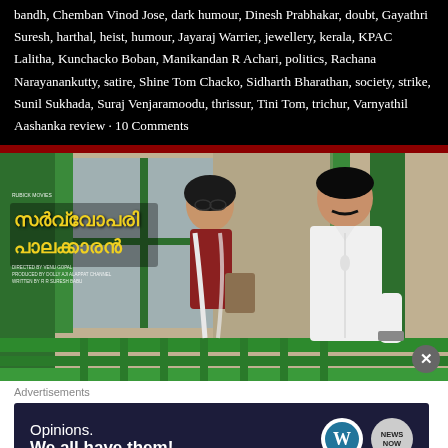bandh, Chemban Vinod Jose, dark humour, Dinesh Prabhakar, doubt, Gayathri Suresh, harthal, heist, humour, Jayaraj Warrier, jewellery, kerala, KPAC Lalitha, Kunchacko Boban, Manikandan R Achari, politics, Rachana Narayanankutty, satire, Shine Tom Chacko, Sidharth Bharathan, society, strike, Sunil Sukhada, Suraj Venjaramoodu, thrissur, Tini Tom, trichur, Varnyathil Aashanka review · 10 Comments
[Figure (photo): Movie poster/still for a Malayalam film showing two actors on a balcony with green railing. A woman in a red outfit with a scarf and a man in a white shirt. Malayalam title text in yellow on the left side of the image.]
Advertisements
[Figure (screenshot): Advertisement banner with dark background showing text 'Opinions. We all have them!' with WordPress and another logo on the right.]